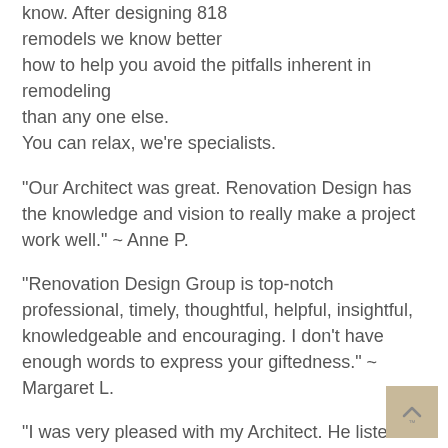know. After designing 818 remodels we know better how to help you avoid the pitfalls inherent in remodeling than any one else. You can relax, we're specialists.
“Our Architect was great. Renovation Design has the knowledge and vision to really make a project work well.” ~ Anne P.
“Renovation Design Group is top-notch professional, timely, thoughtful, helpful, insightful, knowledgeable and encouraging. I don’t have enough words to express your giftedness.” ~ Margaret L.
“I was very pleased with my Architect. He listens and respects his clients. His knowledge of space and materials was exceptional. I wish I had another house so that I could have Renovation Design do the work again.” ~ Wendy L.